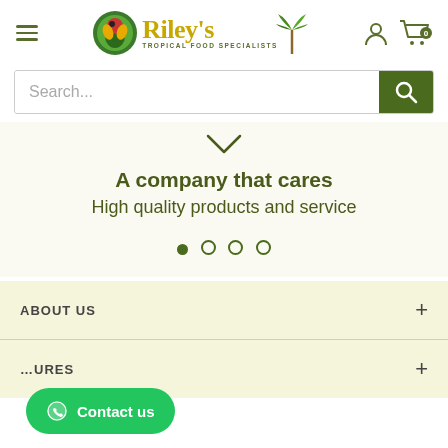Riley's Tropical Food Specialists - Navigation header with hamburger menu, logo, user icon and cart
Search...
▽
A company that cares
High quality products and service
● ○ ○ ○
ABOUT US
...URES
Contact us